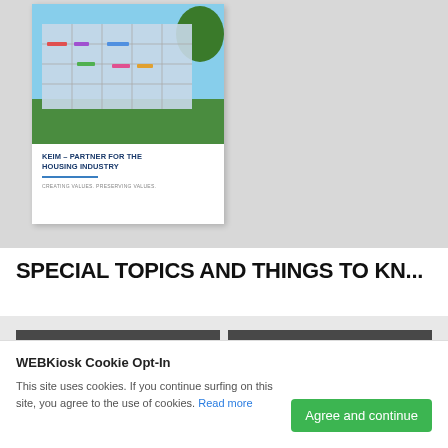[Figure (photo): Brochure cover showing a modern building with colorful decorations, titled KEIM – PARTNER FOR THE HOUSING INDUSTRY, CREATING VALUES. PRESERVING VALUES.]
SPECIAL TOPICS AND THINGS TO KN...
[Figure (screenshot): Two dark gray bars each containing the KEIM logo in white italic text]
WEBKiosk Cookie Opt-In
This site uses cookies. If you continue surfing on this site, you agree to the use of cookies. Read more